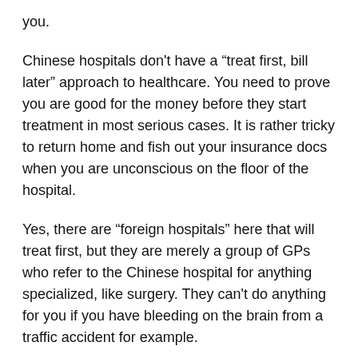you.
Chinese hospitals don't have a “treat first, bill later” approach to healthcare. You need to prove you are good for the money before they start treatment in most serious cases. It is rather tricky to return home and fish out your insurance docs when you are unconscious on the floor of the hospital.
Yes, there are “foreign hospitals” here that will treat first, but they are merely a group of GPs who refer to the Chinese hospital for anything specialized, like surgery. They can’t do anything for you if you have bleeding on the brain from a traffic accident for example.
This is completely forgetting the group discount